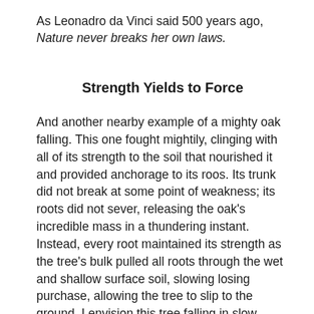As Leonadro da Vinci said 500 years ago, Nature never breaks her own laws.
Strength Yields to Force
And another nearby example of a mighty oak falling. This one fought mightily, clinging with all of its strength to the soil that nourished it and provided anchorage to its roos. Its trunk did not break at some point of weakness; its roots did not sever, releasing the oak's incredible mass in a thundering instant. Instead, every root maintained its strength as the tree's bulk pulled all roots through the wet and shallow surface soil, slowing losing purchase, allowing the tree to slip to the ground. I envision this tree falling in slow motion, contray to the earth-shattering force of the first and second oaks.